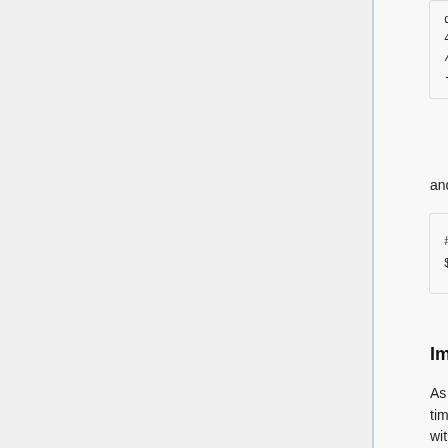delete
4 5 * * 0
/opt/webwork/webwork2/bin/re
--delete --days 14
and save the file and quit
# exit
$
Implement Optional B (lighttpd)
As is the case for Optional A you can implement Optional B at any time and your active courses will continue to function seemingly without change. The only change behind the scenes will be that static images, pages and MathJax (if you installed it locally) will be served by lighttpd.